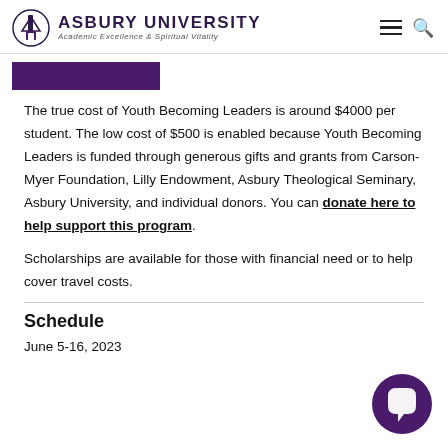ASBURY UNIVERSITY — Academic Excellence & Spiritual Vitality
[Figure (other): Purple banner/button bar below header]
The true cost of Youth Becoming Leaders is around $4000 per student. The low cost of $500 is enabled because Youth Becoming Leaders is funded through generous gifts and grants from Carson-Myer Foundation, Lilly Endowment, Asbury Theological Seminary, Asbury University, and individual donors. You can donate here to help support this program.
Scholarships are available for those with financial need or to help cover travel costs.
Schedule
June 5-16, 2023